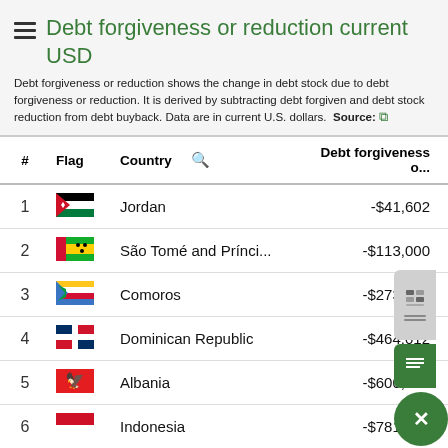Debt forgiveness or reduction current USD
Debt forgiveness or reduction shows the change in debt stock due to debt forgiveness or reduction. It is derived by subtracting debt forgiven and debt stock reduction from debt buyback. Data are in current U.S. dollars. Source: [external link]
| # | Flag | Country |  | Debt forgiveness o... |
| --- | --- | --- | --- | --- |
| 1 |  | Jordan |  | -$41,602 |
| 2 |  | São Tomé and Prínci... |  | -$113,000 |
| 3 |  | Comoros |  | -$273,000 |
| 4 |  | Dominican Republic |  | -$464,012 |
| 5 |  | Albania |  | -$600,000 |
| 6 |  | Indonesia |  | -$781,000 |
| 7 |  | Burundi |  | -$864,000 |